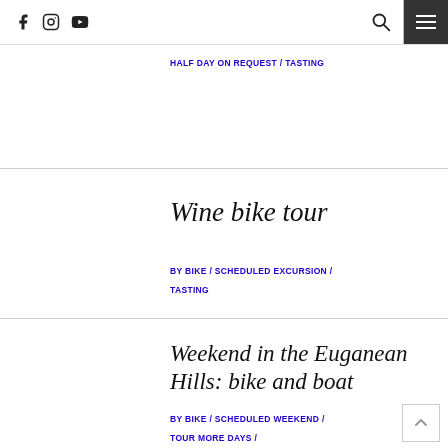f [instagram] [youtube] [search] [menu]
HALF DAY ON REQUEST / TASTING
Wine bike tour
BY BIKE / SCHEDULED EXCURSION / TASTING
Weekend in the Euganean Hills: bike and boat
BY BIKE / SCHEDULED WEEKEND / TOUR MORE DAYS / TOUR ON REQUEST / TOURS